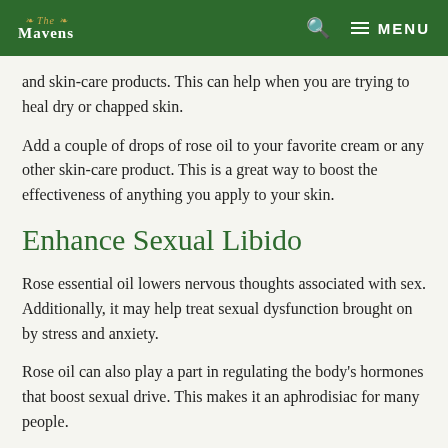The Mavens — MENU
and skin-care products. This can help when you are trying to heal dry or chapped skin.
Add a couple of drops of rose oil to your favorite cream or any other skin-care product. This is a great way to boost the effectiveness of anything you apply to your skin.
Enhance Sexual Libido
Rose essential oil lowers nervous thoughts associated with sex. Additionally, it may help treat sexual dysfunction brought on by stress and anxiety.
Rose oil can also play a part in regulating the body's hormones that boost sexual drive. This makes it an aphrodisiac for many people.